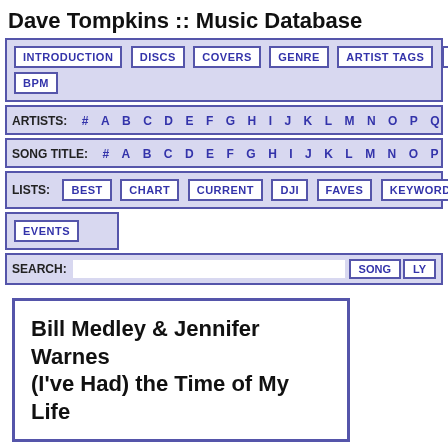Dave Tompkins :: Music Database
INTRODUCTION  DISCS  COVERS  GENRE  ARTIST TAGS  YEAR  BPM
ARTISTS: # A B C D E F G H I J K L M N O P Q R S T
SONG TITLE: # A B C D E F G H I J K L M N O P Q R S
LISTS: BEST  CHART  CURRENT  DJI  FAVES  KEYWORDS  SERIES
EVENTS
SEARCH:   SONG  LY
Bill Medley & Jennifer Warnes
(I've Had) the Time of My Life
| Song Information |
| --- |
| Song Artist(s): | Bill Medley & Jennifer Warnes |
| Song Title: | (I've Had) the Time of My Life |
| Year: | 1990 |